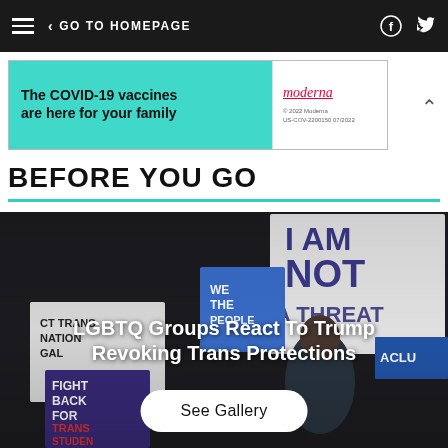GO TO HOMEPAGE
[Figure (photo): Advertisement banner: The COVID-19 vaccines are here for your family - Moderna ad with teal background]
BEFORE YOU GO
[Figure (photo): Protest photo showing people holding signs including 'I AM NOT A THREAT', 'WE THE PEOPLE', 'FIGHT BACK FOR TRANS STUDENTS'. Overlay text: LGBTQ Groups React To Trump Revoking Trans Protections]
LGBTQ Groups React To Trump Revoking Trans Protections
See Gallery